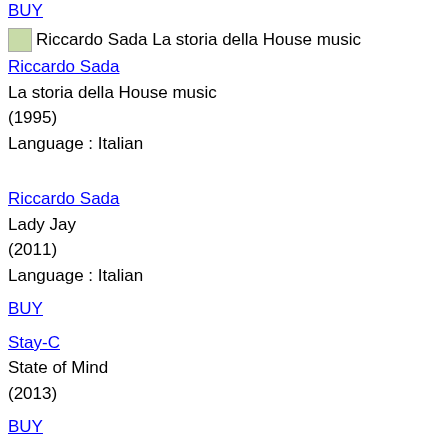BUY
[Figure (photo): Small thumbnail image for Riccardo Sada La storia della House music]
Riccardo Sada
La storia della House music
(1995)
Language : Italian
Riccardo Sada
Lady Jay
(2011)
Language : Italian
BUY
Stay-C
State of Mind
(2013)
BUY